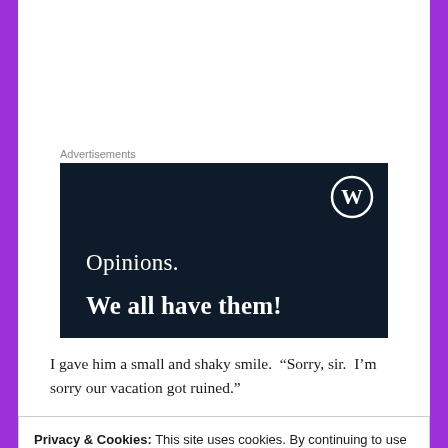Advertisements
[Figure (illustration): WordPress.com advertisement banner with dark navy background. Shows WordPress logo (W in circle) in top right. Text reads 'Opinions. We all have them!' in white serif font.]
I gave him a small and shaky smile.  “Sorry, sir.  I’m sorry our vacation got ruined.”
Privacy & Cookies: This site uses cookies. By continuing to use this website, you agree to their use.
To find out more, including how to control cookies, see here:
Cookie Policy
Close and accept
a lightning fast move, he had me pinned beneath him.  The